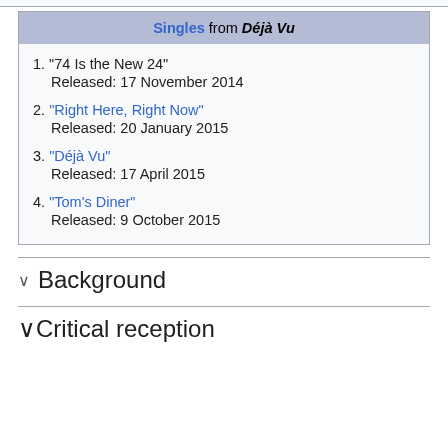Singles from Déjà Vu
1. "74 Is the New 24"
Released: 17 November 2014
2. "Right Here, Right Now"
Released: 20 January 2015
3. "Déjà Vu"
Released: 17 April 2015
4. "Tom's Diner"
Released: 9 October 2015
Background
Critical reception